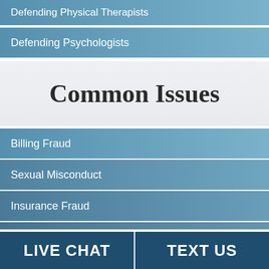Defending Physical Therapists
Defending Psychologists
Common Issues
Billing Fraud
Sexual Misconduct
Insurance Fraud
Medical License Revocation
LIVE CHAT   TEXT US